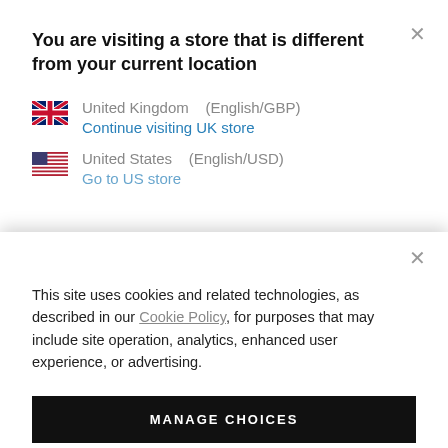You are visiting a store that is different from your current location
United Kingdom   (English/GBP)
Continue visiting UK store
United States   (English/USD)
Go to US store
This site uses cookies and related technologies, as described in our Cookie Policy, for purposes that may include site operation, analytics, enhanced user experience, or advertising.
MANAGE CHOICES
AGREE & PROCEED
REJECT ALL